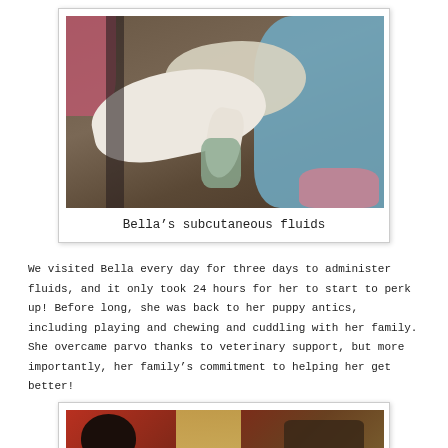[Figure (photo): A white puppy (Bella) lying on a carpet being administered subcutaneous fluids by a person wearing blue scrubs and latex gloves. A pink blanket is visible on the left.]
Bella’s subcutaneous fluids
We visited Bella every day for three days to administer fluids, and it only took 24 hours for her to start to perk up! Before long, she was back to her puppy antics, including playing and chewing and cuddling with her family. She overcame parvo thanks to veterinary support, but more importantly, her family’s commitment to helping her get better!
[Figure (photo): Partial view of another photo showing a person and a room with curtains and warm lighting, likely showing Bella recovered with her family.]